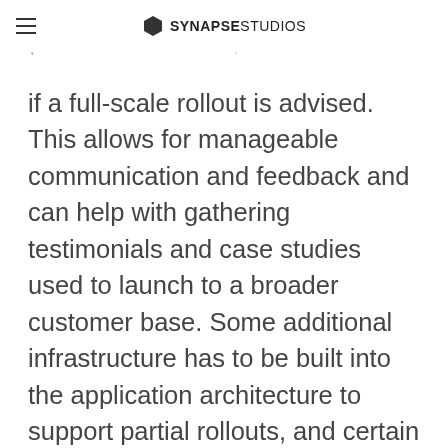SYNAPSE STUDIOS
feedback significant production-level issues, and determine if a full-scale rollout is advised. This allows for manageable communication and feedback and can help with gathering testimonials and case studies used to launch to a broader customer base. Some additional infrastructure has to be built into the application architecture to support partial rollouts, and certain features may be more difficult to rollout partially than others, but we'll help evaluate if this strategy makes sense for your project.